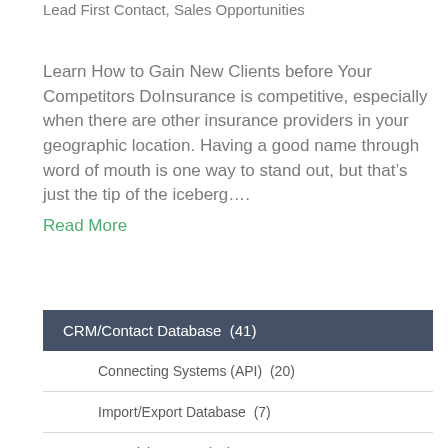Lead First Contact, Sales Opportunities
Learn How to Gain New Clients before Your Competitors DoInsurance is competitive, especially when there are other insurance providers in your geographic location. Having a good name through word of mouth is one way to stand out, but that’s just the tip of the iceberg....
Read More
CRM/Contact Database  (41)
Connecting Systems (API)  (20)
Import/Export Database  (7)
Organizing Data  (22)